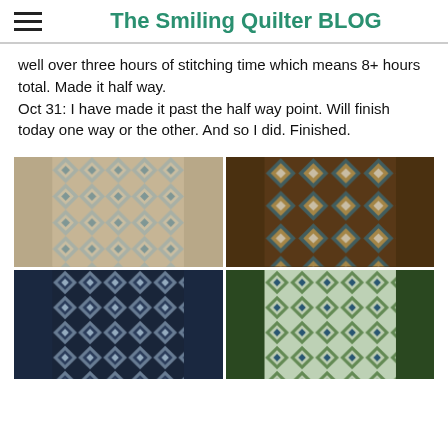The Smiling Quilter BLOG
well over three hours of stitching time which means 8+ hours total. Made it half way.
Oct 31: I have made it past the half way point. Will finish today one way or the other. And so I did. Finished.
[Figure (photo): Close-up of a quilt with star pattern in beige and teal tones]
[Figure (photo): Quilt block with brown, gold, and teal star/diamond pattern]
[Figure (photo): Full quilt laid flat showing repeating star pattern in blue and dark tones]
[Figure (photo): Full quilt laid flat showing repeating star pattern in green and teal tones]